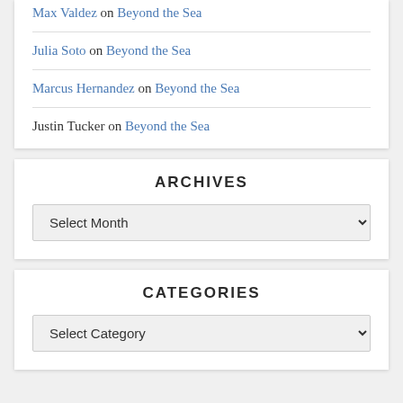Max Valdez on Beyond the Sea
Julia Soto on Beyond the Sea
Marcus Hernandez on Beyond the Sea
Justin Tucker on Beyond the Sea
ARCHIVES
Select Month
CATEGORIES
Select Category